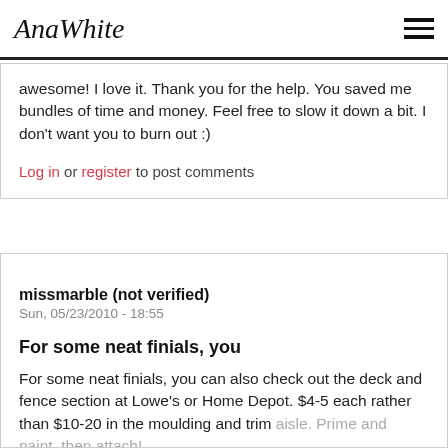AnaWhite [logo] [hamburger menu]
awesome! I love it. Thank you for the help. You saved me bundles of time and money. Feel free to slow it down a bit. I don't want you to burn out :)
Log in or register to post comments
missmarble (not verified)
Sun, 05/23/2010 - 18:55
For some neat finials, you
For some neat finials, you can also check out the deck and fence section at Lowe's or Home Depot. $4-5 each rather than $10-20 in the moulding and trim aisle. Prime and paint, then attach!